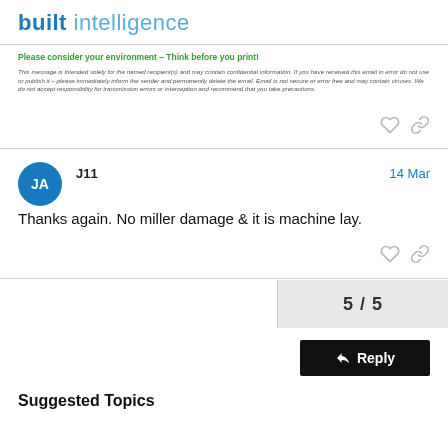built intelligence
Please consider your environment – Think before you print!
This message is intended solely for the named recipient(s) and may contain confidential information.  If you have received this email in error do not use or publish it – please immediately inform the sender and permanently delete the email.  Email is not secure or error free and may contain viruses.  We do not accept responsibility for transmission errors or interception and recommend that you take precautions.
J11   14 Mar
Thanks again. No miller damage & it is machine lay.
5 / 5
Reply
Suggested Topics